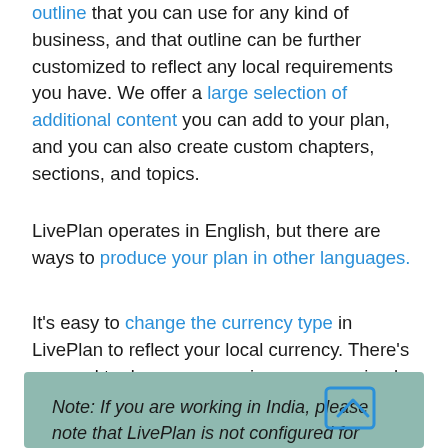outline that you can use for any kind of business, and that outline can be further customized to reflect any local requirements you have. We offer a large selection of additional content you can add to your plan, and you can also create custom chapters, sections, and topics.
LivePlan operates in English, but there are ways to produce your plan in other languages.
It's easy to change the currency type in LivePlan to reflect your local currency. There's no need to do any conversion; you can simply type the amounts as they exist in your local currency.
Note: If you are working in India, please note that LivePlan is not configured for Crore or Lakh representations.